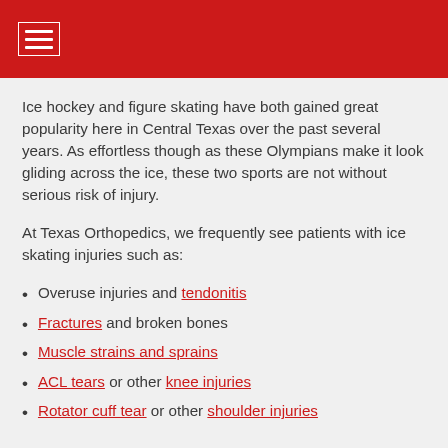Ice hockey and figure skating have both gained great popularity here in Central Texas over the past several years. As effortless though as these Olympians make it look gliding across the ice, these two sports are not without serious risk of injury.
At Texas Orthopedics, we frequently see patients with ice skating injuries such as:
Overuse injuries and tendonitis
Fractures and broken bones
Muscle strains and sprains
ACL tears or other knee injuries
Rotator cuff tear or other shoulder injuries